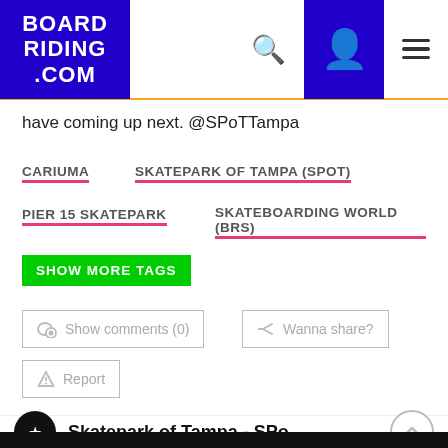BOARDRIDING.COM
have coming up next. @SPoTTampa
CARIUMA
SKATEPARK OF TAMPA (SPOT)
PIER 15 SKATEPARK
SKATEBOARDING WORLD (BRS)
SHOW MORE TAGS
Show comments (0)
Wanna share?
Report
Skatepark of Tampa - SPoT